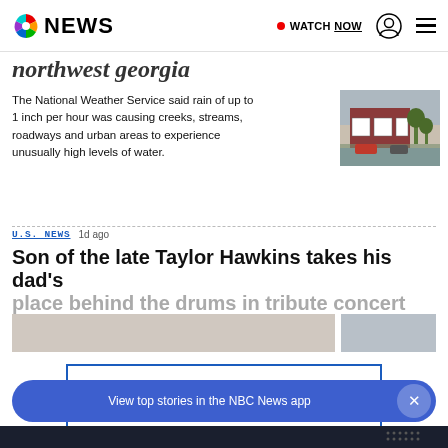NBC NEWS — WATCH NOW
northwest georgia
The National Weather Service said rain of up to 1 inch per hour was causing creeks, streams, roadways and urban areas to experience unusually high levels of water.
[Figure (photo): Flooded area with red brick building and vehicles in standing water]
U.S. NEWS  1d ago
Son of the late Taylor Hawkins takes his dad's place behind the drums in tribute concert
[Figure (photo): Thumbnail images related to Taylor Hawkins tribute concert article]
LOAD MORE
View top stories in the NBC News app